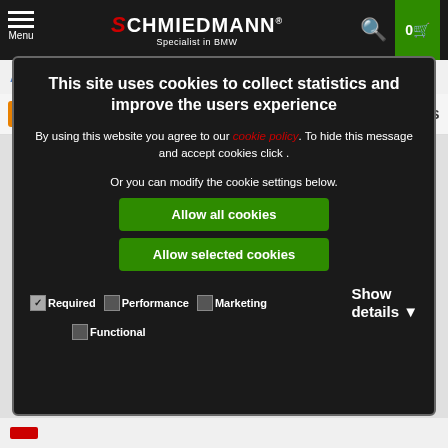[Figure (screenshot): Schmiedmann website header with logo, menu, search and cart icons]
All models
Alternatives ▾
SHOW DETAILS
This site uses cookies to collect statistics and improve the users experience
By using this website you agree to our cookie policy. To hide this message and accept cookies click .
Or you can modify the cookie settings below.
Allow all cookies
Allow selected cookies
☑Required  ☐Performance  ☐Marketing  Show details ▾
☐Functional